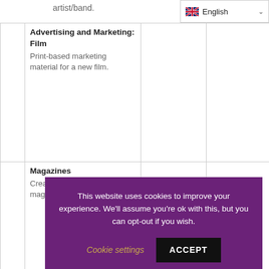artist/band.
[Figure (screenshot): English language selector dropdown with UK flag]
|  | Advertising and Marketing: Film
Print-based marketing material for a new film. |  |  |
|  | Magazines
Create a new print or online magazine. |  |  |
[Figure (screenshot): Cookie consent banner: 'This website uses cookies to improve your experience. We'll assume you're ok with this, but you can opt-out if you wish.' with Cookie settings and ACCEPT buttons]
The marks are